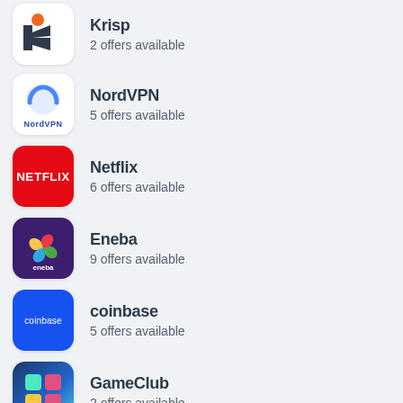Krisp — 2 offers available
NordVPN — 5 offers available
Netflix — 6 offers available
Eneba — 9 offers available
coinbase — 5 offers available
GameClub — 2 offers available